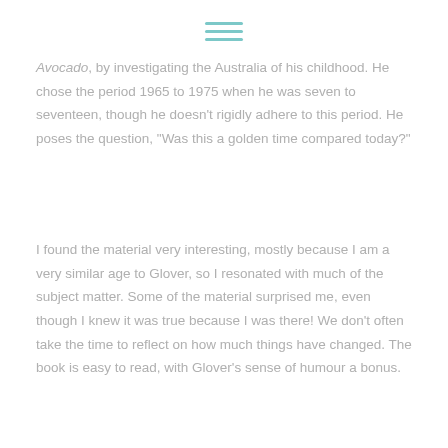[Figure (other): Hamburger menu icon: three horizontal teal/turquoise lines centered at top of page]
Avocado, by investigating the Australia of his childhood. He chose the period 1965 to 1975 when he was seven to seventeen, though he doesn't rigidly adhere to this period. He poses the question, "Was this a golden time compared today?"
I found the material very interesting, mostly because I am a very similar age to Glover, so I resonated with much of the subject matter. Some of the material surprised me, even though I knew it was true because I was there! We don't often take the time to reflect on how much things have changed. The book is easy to read, with Glover's sense of humour a bonus.